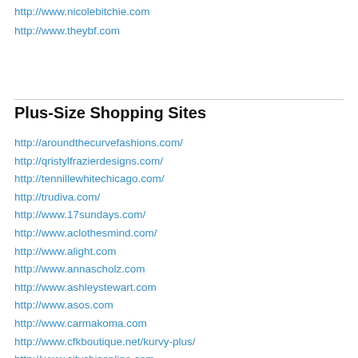http://www.nicolebitchie.com
http://www.theybf.com
Plus-Size Shopping Sites
http://aroundthecurvefashions.com/
http://qristylfrazierdesigns.com/
http://tennillewhitechicago.com/
http://trudiva.com/
http://www.17sundays.com/
http://www.aclothesmind.com/
http://www.alight.com
http://www.annascholz.com
http://www.ashleystewart.com
http://www.asos.com
http://www.carmakoma.com
http://www.cfkboutique.net/kurvy-plus/
http://www.citychiconline.com
http://www.curvaceousboutique.com